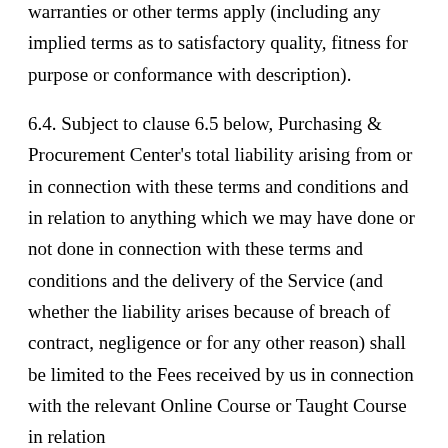warranties or other terms apply (including any implied terms as to satisfactory quality, fitness for purpose or conformance with description).
6.4. Subject to clause 6.5 below, Purchasing & Procurement Center's total liability arising from or in connection with these terms and conditions and in relation to anything which we may have done or not done in connection with these terms and conditions and the delivery of the Service (and whether the liability arises because of breach of contract, negligence or for any other reason) shall be limited to the Fees received by us in connection with the relevant Online Course or Taught Course in relation